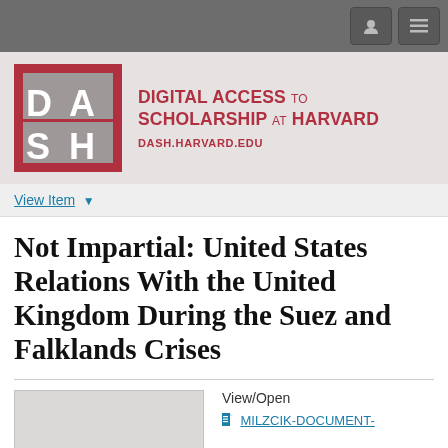[Figure (logo): DASH (Digital Access to Scholarship at Harvard) logo with navigation bar]
DIGITAL ACCESS TO SCHOLARSHIP AT HARVARD
DASH.HARVARD.EDU
View Item
Not Impartial: United States Relations With the United Kingdom During the Suez and Falklands Crises
View/Open
MILZCIK-DOCUMENT-